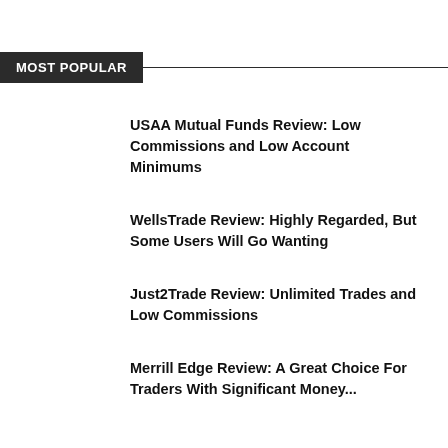MOST POPULAR
USAA Mutual Funds Review: Low Commissions and Low Account Minimums
WellsTrade Review: Highly Regarded, But Some Users Will Go Wanting
Just2Trade Review: Unlimited Trades and Low Commissions
Merrill Edge Review: A Great Choice For Traders With Significant Money...